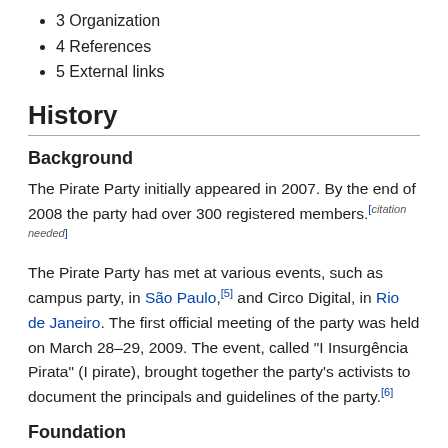3 Organization
4 References
5 External links
History
Background
The Pirate Party initially appeared in 2007. By the end of 2008 the party had over 300 registered members.[citation needed]
The Pirate Party has met at various events, such as campus party, in São Paulo,[5] and Circo Digital, in Rio de Janeiro. The first official meeting of the party was held on March 28–29, 2009. The event, called "I Insurgência Pirata" (I pirate), brought together the party's activists to document the principals and guidelines of the party.[6]
Foundation
The official creation of the party took place on July 27–28, 2012, at the National Foundation Convention in Recife.[7][8]